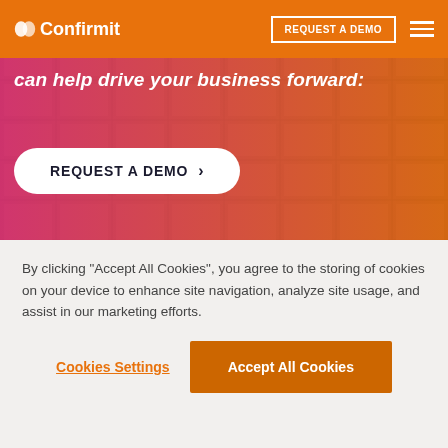Confirmit — REQUEST A DEMO [nav menu]
[Figure (photo): Partial hero section with pink-to-orange gradient overlay on a building photo. Text reads: 'can help drive your business forward:' with a 'REQUEST A DEMO >' call-to-action button below.]
By clicking "Accept All Cookies", you agree to the storing of cookies on your device to enhance site navigation, analyze site usage, and assist in our marketing efforts.
Cookies Settings   Accept All Cookies